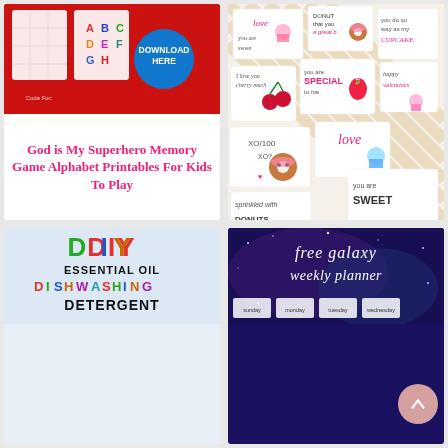[Figure (photo): Superhero alphabet memory game printables on red background with DOWNLOAD HERE button]
God is My Superhero Memory Game Alphabet Printables For Kids To Play
[Figure (photo): Cute kawaii dessert Valentine cards with handwritten messages on gold striped background]
95+ Free Printable Valentine Cards for Kids
[Figure (photo): DIY Essential Oil Dishwashing Detergent colorful text on light blue background]
[Figure (photo): Free galaxy weekly planner on purple galaxy background]